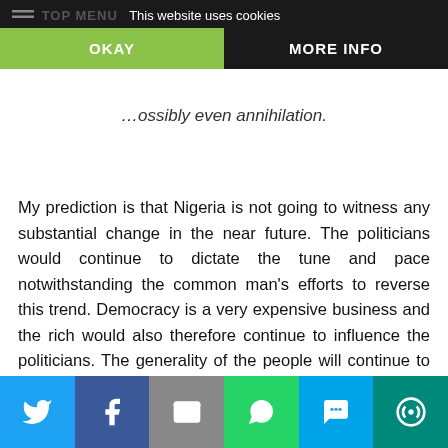This website uses cookies
ossibly even annihilation.
My prediction is that Nigeria is not going to witness any substantial change in the near future. The politicians would continue to dictate the tune and pace notwithstanding the common man's efforts to reverse this trend. Democracy is a very expensive business and the rich would also therefore continue to influence the politicians. The generality of the people will continue to exert precious little influence even though they have the most powerful tool for real change in their hands or, more appropriately, thumb!
By the second quarter of next year, the Buhari government would have completed two out of its four-year term. By the start of the third year, politicking would have started full-blown and in
Social share bar: Twitter, Facebook, Email, WhatsApp, SMS, More